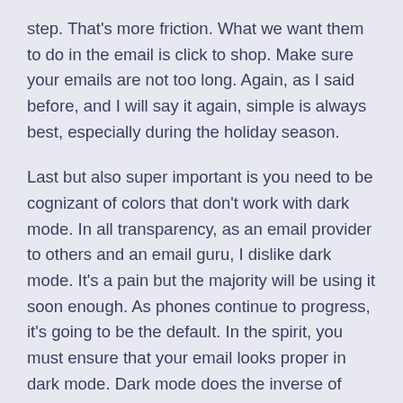step. That's more friction. What we want them to do in the email is click to shop. Make sure your emails are not too long. Again, as I said before, and I will say it again, simple is always best, especially during the holiday season.
Last but also super important is you need to be cognizant of colors that don't work with dark mode. In all transparency, as an email provider to others and an email guru, I dislike dark mode. It's a pain but the majority will be using it soon enough. As phones continue to progress, it's going to be the default. In the spirit, you must ensure that your email looks proper in dark mode. Dark mode does the inverse of whatever you are trying to achieve on the surface.
White backgrounds are great because they fill with